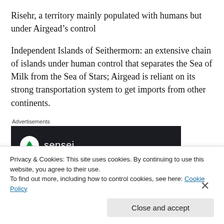Risehr, a territory mainly populated with humans but under Airgead’s control
Independent Islands of Seithermorn: an extensive chain of islands under human control that separates the Sea of Milk from the Sea of Stars; Airgead is reliant on its strong transportation system to get imports from other continents.
[Figure (other): Advertisement banner for 'sensei' with dark background showing logo circle with tree icon and text 'sensei', with italic teal text 'Launch your online' partially visible]
Privacy & Cookies: This site uses cookies. By continuing to use this website, you agree to their use.
To find out more, including how to control cookies, see here: Cookie Policy